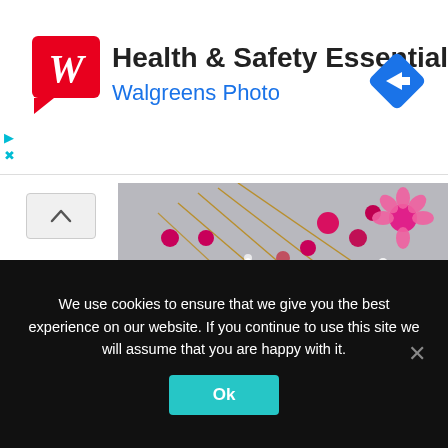[Figure (logo): Walgreens red logo with stylized W on red speech bubble background, with Health & Safety Essentials title and Walgreens Photo subtitle, plus blue navigation diamond icon on the right]
[Figure (photo): Flatlay photo of white daisies and pink/magenta dried flowers with stems on a light grey background]
We use cookies to ensure that we give you the best experience on our website. If you continue to use this site we will assume that you are happy with it.
Ok